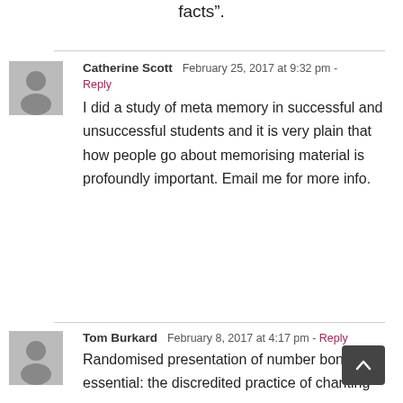facts”.
Catherine Scott  February 25, 2017 at 9:32 pm - Reply

I did a study of meta memory in successful and unsuccessful students and it is very plain that how people go about memorising material is profoundly important. Email me for more info.
Tom Burkard  February 8, 2017 at 4:17 pm - Reply

Randomised presentation of number bonds is essential: the discredited practice of chanting